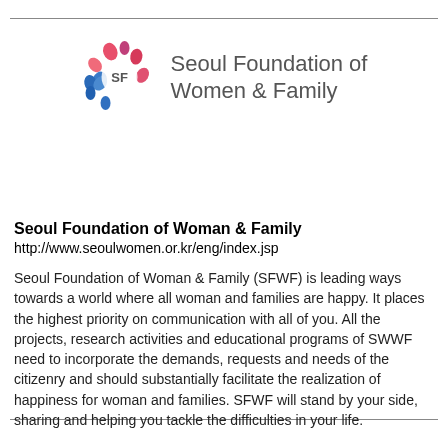[Figure (logo): Seoul Foundation of Women & Family logo — a circular globe made of colorful flower/people shapes in pink, red, and blue, with 'SF' letters, alongside the text 'Seoul Foundation of Women & Family' in gray]
Seoul Foundation of Woman & Family
http://www.seoulwomen.or.kr/eng/index.jsp
Seoul Foundation of Woman & Family (SFWF) is leading ways towards a world where all woman and families are happy. It places the highest priority on communication with all of you. All the projects, research activities and educational programs of SWWF need to incorporate the demands, requests and needs of the citizenry and should substantially facilitate the realization of happiness for woman and families. SFWF will stand by your side, sharing and helping you tackle the difficulties in your life.